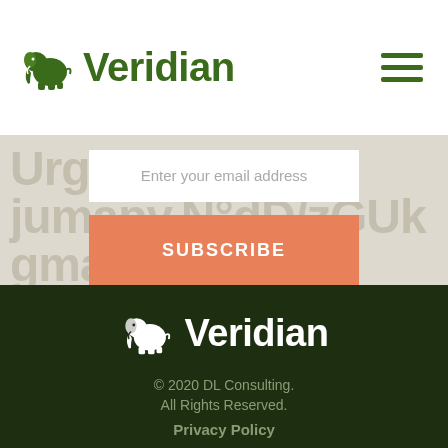[Figure (logo): Veridian logo with green elephant icon and green text 'Veridian' in the header]
[Figure (illustration): Hamburger menu icon with three dark green horizontal lines]
Enter your email address
SUBSCRIBE
[Figure (logo): Veridian logo with white elephant icon and white text 'Veridian' in the footer]
© 2020 DL Consulting.
All Rights Reserved.
Privacy Policy